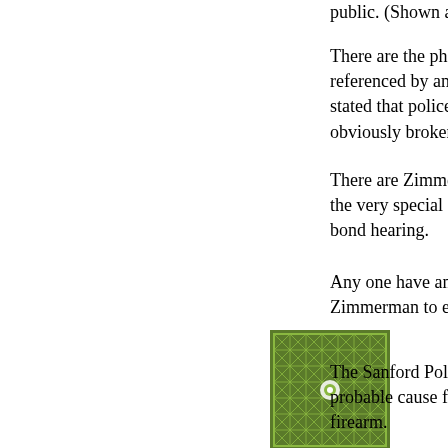public. (Shown above.)
There are the photos taken b... referenced by an elderly, bla... stated that police showed her... obviously broken nose in ord...
There are Zimmerman's med... the very special Prosecutor) ... bond hearing.
Any one have any other "Nor... Zimmerman to educate Kathy...
[Figure (illustration): Small square avatar/profile image with a green geometric star/web pattern on a dark green background]
The Sanford Police did a com... probable cause for any charg... firearm.
Now the state in the person o... Sanford Police to be gagged ... about the travesty of justice th...
Will we see the police and de... called as defense witnesses?...